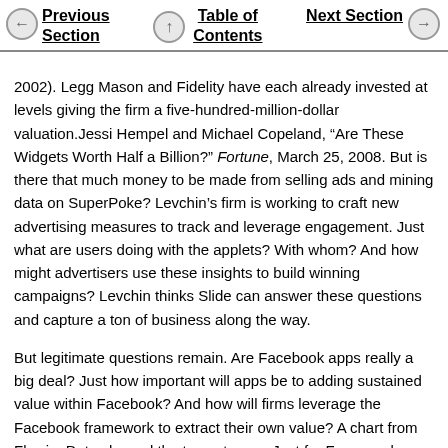Previous Section | Table of Contents | Next Section
2002). Legg Mason and Fidelity have each already invested at levels giving the firm a five-hundred-million-dollar valuation.Jessi Hempel and Michael Copeland, “Are These Widgets Worth Half a Billion?” Fortune, March 25, 2008. But is there that much money to be made from selling ads and mining data on SuperPoke? Levchin’s firm is working to craft new advertising measures to track and leverage engagement. Just what are users doing with the applets? With whom? And how might advertisers use these insights to build winning campaigns? Levchin thinks Slide can answer these questions and capture a ton of business along the way.
But legitimate questions remain. Are Facebook apps really a big deal? Just how important will apps be to adding sustained value within Facebook? And how will firms leverage the Facebook framework to extract their own value? A chart from FlowingData showed the top category, Just for Fun, was larger than the next four categories combined. That suggests that a lot